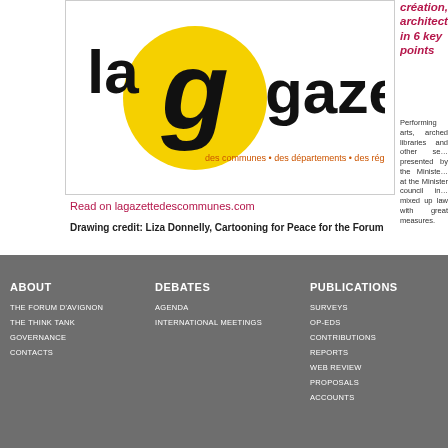[Figure (logo): La Gazette des communes, des départements, des régions logo — black bold text 'la gazette' with yellow circle containing black 'g' letter, tagline in small orange text]
création, architect… in 6 key points
Performing arts, arched libraries and other se… presented by the Ministe… at the Minister council in… mixed up law with great measures.
Read on lagazettedescommunes.com
Drawing credit: Liza Donnelly, Cartooning for Peace for the Forum
ABOUT
THE FORUM D'AVIGNON
THE THINK TANK
GOVERNANCE
CONTACTS
DEBATES
AGENDA
INTERNATIONAL MEETINGS
PUBLICATIONS
SURVEYS
OP-EDS
CONTRIBUTIONS
REPORTS
WEB REVIEW
PROPOSALS
ACCOUNTS